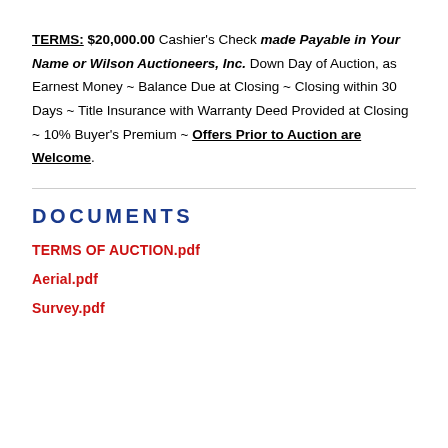TERMS: $20,000.00 Cashier's Check made Payable in Your Name or Wilson Auctioneers, Inc. Down Day of Auction, as Earnest Money ~ Balance Due at Closing ~ Closing within 30 Days ~ Title Insurance with Warranty Deed Provided at Closing ~ 10% Buyer's Premium ~ Offers Prior to Auction are Welcome.
DOCUMENTS
TERMS OF AUCTION.pdf
Aerial.pdf
Survey.pdf